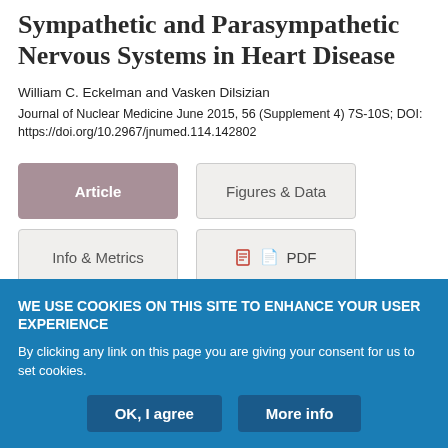Sympathetic and Parasympathetic Nervous Systems in Heart Disease
William C. Eckelman and Vasken Dilsizian
Journal of Nuclear Medicine June 2015, 56 (Supplement 4) 7S-10S; DOI: https://doi.org/10.2967/jnumed.114.142802
[Figure (screenshot): Navigation buttons: Article (active/highlighted), Figures & Data, Info & Metrics, PDF]
WE USE COOKIES ON THIS SITE TO ENHANCE YOUR USER EXPERIENCE
By clicking any link on this page you are giving your consent for us to set cookies.
OK, I agree
More info